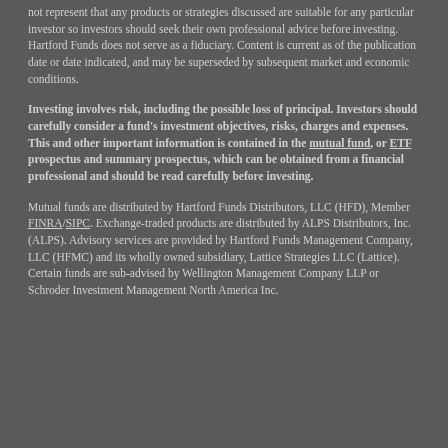not represent that any products or strategies discussed are suitable for any particular investor so investors should seek their own professional advice before investing. Hartford Funds does not serve as a fiduciary. Content is current as of the publication date or date indicated, and may be superseded by subsequent market and economic conditions.
Investing involves risk, including the possible loss of principal. Investors should carefully consider a fund's investment objectives, risks, charges and expenses. This and other important information is contained in the mutual fund, or ETF prospectus and summary prospectus, which can be obtained from a financial professional and should be read carefully before investing.
Mutual funds are distributed by Hartford Funds Distributors, LLC (HFD), Member FINRA/SIPC. Exchange-traded products are distributed by ALPS Distributors, Inc. (ALPS). Advisory services are provided by Hartford Funds Management Company, LLC (HFMC) and its wholly owned subsidiary, Lattice Strategies LLC (Lattice). Certain funds are sub-advised by Wellington Management Company LLP or Schroder Investment Management North America Inc.